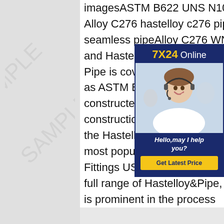imagesASTM B622 UNS N10276 Hastelloy C276 Pipe Alloy C276 hastelloy c276 pipe uns n10276 alloy c276 seamless pipeAlloy C276 WNR/DIN 2.4819 Welded Pipe and Hastelloy Seamless Pipe supplier. The Hastelloy C276 Pipe is covered by 2 specifications i.e. ASTM B622 as well as ASTM B619. Typically the ASTM B622 Pipe is constructed in a seamless manner whereas the construction of the ASTM B619 Pipe is welded. Amongst all the Hastelloy variations the C276 Hastelloy Pipe is the most popular one.Hastelloy&C276 Pipe - Hastelloy&Pipe Fittings US MetalsU. S. Metals diverse inventory offers a full range of Hastelloy&Pipe, Valves, Fittings & Flanges that is prominent in the process
[Figure (other): 7X24 Online chat widget with customer service representative wearing headset, smiling. Text says 'Hello,may I help you?' and a yellow 'Get Latest Price' button.]